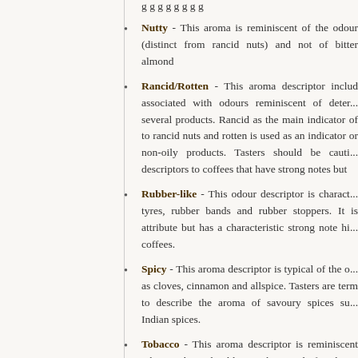Nutty - This aroma is reminiscent of the odour (distinct from rancid nuts) and not of bitter almon...
Rancid/Rotten - This aroma descriptor inclu... associated with odours reminiscent of deter... several products. Rancid as the main indicator o... to rancid nuts and rotten is used as an indicator or non-oily products. Tasters should be cauti... descriptors to coffees that have strong notes but...
Rubber-like - This odour descriptor is charact... tyres, rubber bands and rubber stoppers. It is attribute but has a characteristic strong note hi... coffees.
Spicy - This aroma descriptor is typical of the o... as cloves, cinnamon and allspice. Tasters are term to describe the aroma of savoury spices su... Indian spices.
Tobacco - This aroma descriptor is reminiscent tobacco but should not be used for burnt tobacco...
Winey - This terms is used to describe the con...